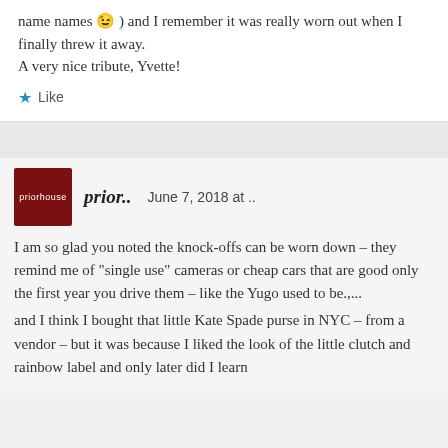name names 😉 ) and I remember it was really worn out when I finally threw it away.
A very nice tribute, Yvette!
Like
prior..  June 7, 2018 at ..
I am so glad you noted the knock-offs can be worn down – they remind me of "single use" cameras or cheap cars that are good only the first year you drive them – like the Yugo used to be.,..
and I think I bought that little Kate Spade purse in NYC – from a vendor – but it was because I liked the look of the little clutch and rainbow label and only later did I learn